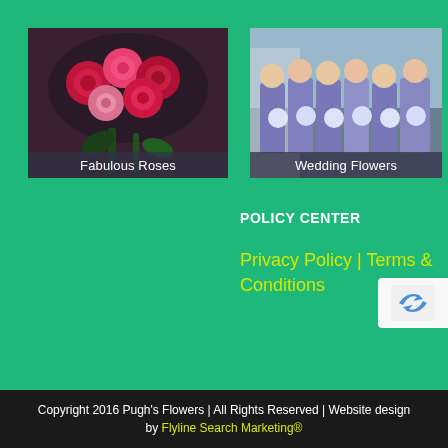[Figure (photo): Arrangement of red and pink roses in a vase with dark green foliage, captioned 'Fabulous Roses']
[Figure (photo): Group of bridesmaids in purple/lavender dresses holding white flower bouquets, standing in front of a building, captioned 'Wedding Flowers']
POLICY CENTER
Privacy Policy | Terms & Conditions
[Figure (logo): reCAPTCHA logo/badge partially visible in the bottom right]
Copyright 2016 Pugh's Flowers | All Rights Reserved | Website design by Flyline Search Marketing®